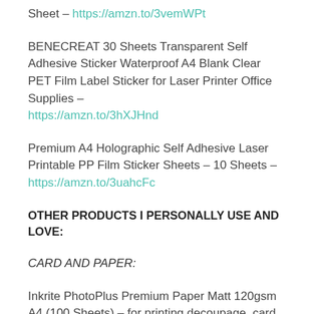Sheet – https://amzn.to/3vemWPt
BENECREAT 30 Sheets Transparent Self Adhesive Sticker Waterproof A4 Blank Clear PET Film Label Sticker for Laser Printer Office Supplies – https://amzn.to/3hXJHnd
Premium A4 Holographic Self Adhesive Laser Printable PP Film Sticker Sheets – 10 Sheets – https://amzn.to/3uahcFc
OTHER PRODUCTS I PERSONALLY USE AND LOVE:
CARD AND PAPER:
Inkrite PhotoPlus Premium Paper Matt 120gsm A4 (100 Sheets) – for printing decoupage, card toppers etc –